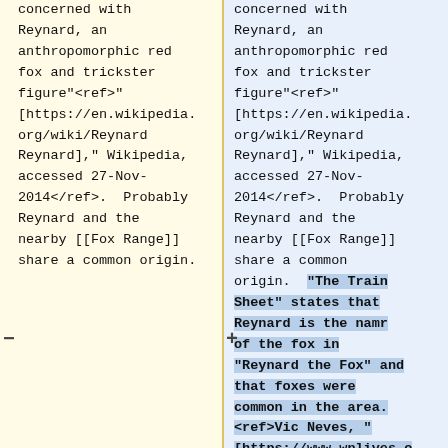concerned with Reynard, an anthropomorphic red fox and trickster figure"<ref>" [https://en.wikipedia.org/wiki/Reynard Reynard]," Wikipedia, accessed 27-Nov-2014</ref>.  Probably Reynard and the nearby [[Fox Range]] share a common origin.
concerned with Reynard, an anthropomorphic red fox and trickster figure"<ref>" [https://en.wikipedia.org/wiki/Reynard Reynard]," Wikipedia, accessed 27-Nov-2014</ref>.  Probably Reynard and the nearby [[Fox Range]] share a common origin.  "The Train Sheet" states that Reynard is the namr of the fox in "Reynard the Fox" and that foxes were common in the area. <ref>Vic Neves, " [https://www.wnlives.o